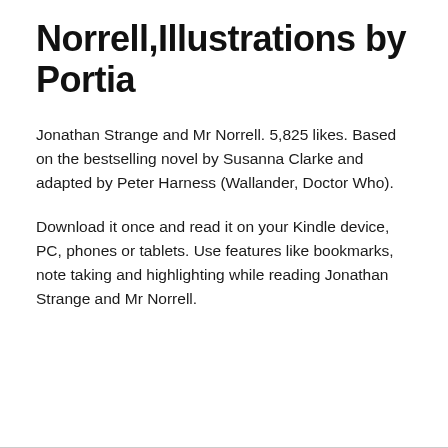Norrell,Illustrations by Portia
Jonathan Strange and Mr Norrell. 5,825 likes. Based on the bestselling novel by Susanna Clarke and adapted by Peter Harness (Wallander, Doctor Who).
Download it once and read it on your Kindle device, PC, phones or tablets. Use features like bookmarks, note taking and highlighting while reading Jonathan Strange and Mr Norrell.